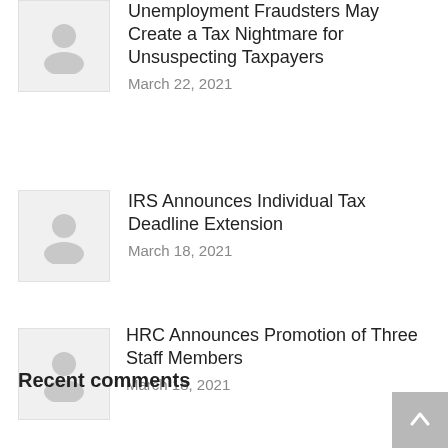[Figure (illustration): Placeholder thumbnail with person silhouette icon (partial, item 1)]
Unemployment Fraudsters May Create a Tax Nightmare for Unsuspecting Taxpayers
March 22, 2021
[Figure (illustration): Placeholder thumbnail with person silhouette icon (item 2)]
IRS Announces Individual Tax Deadline Extension
March 18, 2021
[Figure (illustration): Placeholder thumbnail with person silhouette icon (item 3)]
HRC Announces Promotion of Three Staff Members
March 18, 2021
Recent comments